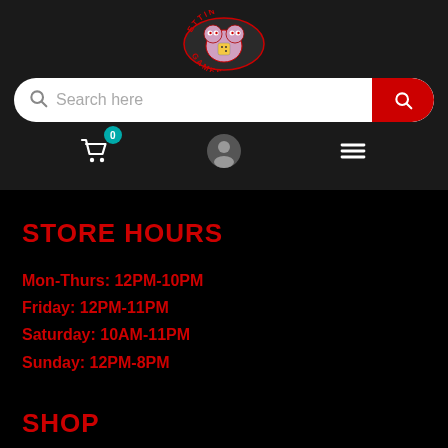[Figure (logo): Ettin Games logo — a cartoon two-headed monster holding dice, with red text arcing above and below reading ETTIN GAMES]
[Figure (screenshot): Search bar with magnifying glass icon on left, placeholder text 'Search here', and a red rounded button with white magnifying glass icon on right]
[Figure (infographic): Navigation icon row: shopping cart icon with teal badge showing 0, user profile icon, hamburger menu icon]
STORE HOURS
Mon-Thurs: 12PM-10PM
Friday: 12PM-11PM
Saturday: 10AM-11PM
Sunday: 12PM-8PM
SHOP